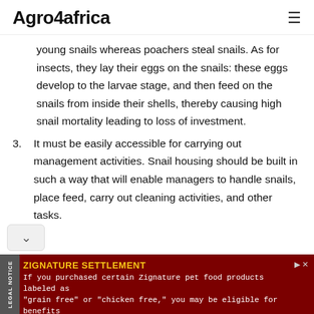Agro4africa
young snails whereas poachers steal snails. As for insects, they lay their eggs on the snails: these eggs develop to the larvae stage, and then feed on the snails from inside their shells, thereby causing high snail mortality leading to loss of investment.
3. It must be easily accessible for carrying out management activities. Snail housing should be built in such a way that will enable managers to handle snails, place feed, carry out cleaning activities, and other tasks.
[Figure (other): Advertisement banner: ZIGNATURE SETTLEMENT - If you purchased certain Zignature pet food products labeled as "grain free" or "chicken free," you may be eligible for benefits]